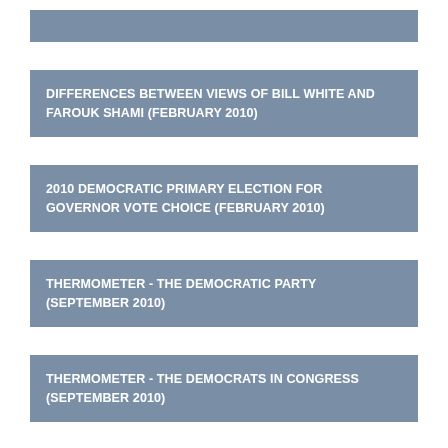DIFFERENCES BETWEEN VIEWS OF BILL WHITE AND FAROUK SHAMI (FEBRUARY 2010)
2010 DEMOCRATIC PRIMARY ELECTION FOR GOVERNOR VOTE CHOICE (FEBRUARY 2010)
THERMOMETER - THE DEMOCRATIC PARTY (SEPTEMBER 2010)
THERMOMETER - THE DEMOCRATS IN CONGRESS (SEPTEMBER 2010)
2012 DEMOCRATIC PRESIDENTIAL PRIMARY VOTE CHOICE (SEPTEMBER 2010)
RICK PERRY SUPPORTERS' SECOND CHOICE (JUNE 2015)